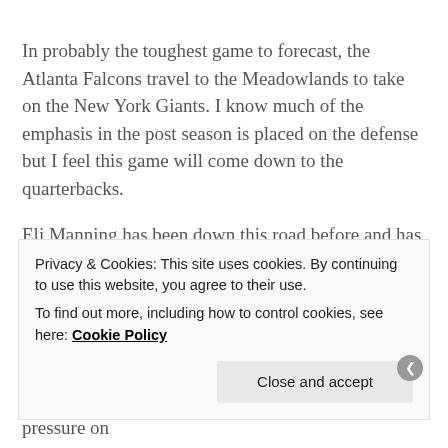In probably the toughest game to forecast, the Atlanta Falcons travel to the Meadowlands to take on the New York Giants. I know much of the emphasis in the post season is placed on the defense but I feel this game will come down to the quarterbacks.
Eli Manning has been down this road before and has a Super Bowl ring to show for it. Eli has also had the best statistical year of his career thanks in large part to breakout rookie receiver Victor Cruz. Eli has also become one of the most clutch quarterbacks in the game. On the other side Falcons quarterback Matt Ryan is 0-3 in playoff games. There is a ton of pressure on
Privacy & Cookies: This site uses cookies. By continuing to use this website, you agree to their use.
To find out more, including how to control cookies, see here: Cookie Policy
Close and accept